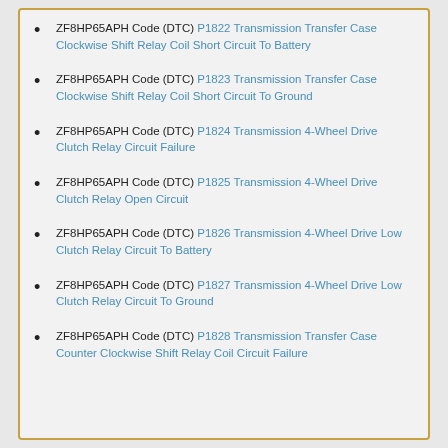ZF8HP65APH Code (DTC) P1822 Transmission Transfer Case Clockwise Shift Relay Coil Short Circuit To Battery
ZF8HP65APH Code (DTC) P1823 Transmission Transfer Case Clockwise Shift Relay Coil Short Circuit To Ground
ZF8HP65APH Code (DTC) P1824 Transmission 4-Wheel Drive Clutch Relay Circuit Failure
ZF8HP65APH Code (DTC) P1825 Transmission 4-Wheel Drive Clutch Relay Open Circuit
ZF8HP65APH Code (DTC) P1826 Transmission 4-Wheel Drive Low Clutch Relay Circuit To Battery
ZF8HP65APH Code (DTC) P1827 Transmission 4-Wheel Drive Low Clutch Relay Circuit To Ground
ZF8HP65APH Code (DTC) P1828 Transmission Transfer Case Counter Clockwise Shift Relay Coil Circuit Failure